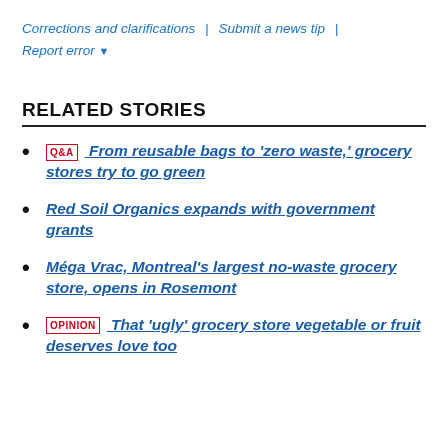Corrections and clarifications | Submit a news tip | Report error ▾
RELATED STORIES
Q&A  From reusable bags to 'zero waste,' grocery stores try to go green
Red Soil Organics expands with government grants
Méga Vrac, Montreal's largest no-waste grocery store, opens in Rosemont
OPINION  That 'ugly' grocery store vegetable or fruit deserves love too